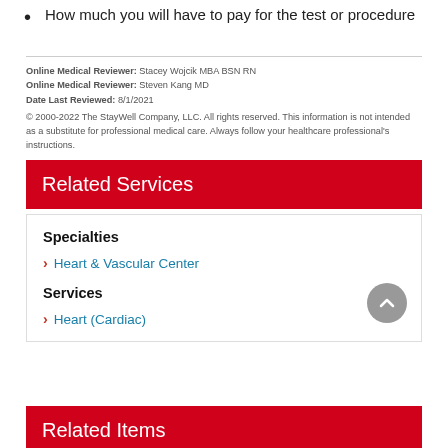How much you will have to pay for the test or procedure
Online Medical Reviewer: Stacey Wojcik MBA BSN RN
Online Medical Reviewer: Steven Kang MD
Date Last Reviewed: 8/1/2021
© 2000-2022 The StayWell Company, LLC. All rights reserved. This information is not intended as a substitute for professional medical care. Always follow your healthcare professional's instructions.
Related Services
Specialties
Heart & Vascular Center
Services
Heart (Cardiac)
Related Items